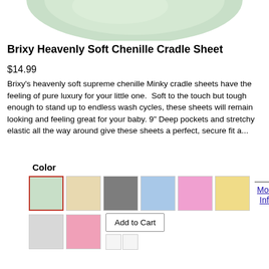[Figure (photo): Partial view of a light green/mint colored Brixy Heavenly Soft Chenille Cradle Sheet product image, showing fabric corner]
Brixy Heavenly Soft Chenille Cradle Sheet
$14.99
Brixy's heavenly soft supreme chenille Minky cradle sheets have the feeling of pure luxury for your little one.  Soft to the touch but tough enough to stand up to endless wash cycles, these sheets will remain looking and feeling great for your baby. 9" Deep pockets and stretchy elastic all the way around give these sheets a perfect, secure fit a...
Color
[Figure (other): Color swatches for product: mint/green (selected), beige/cream, gray, light blue, pink/lavender, yellow, gray (light), pink, and two small partial swatches. Add to Cart button and More Info link also shown.]